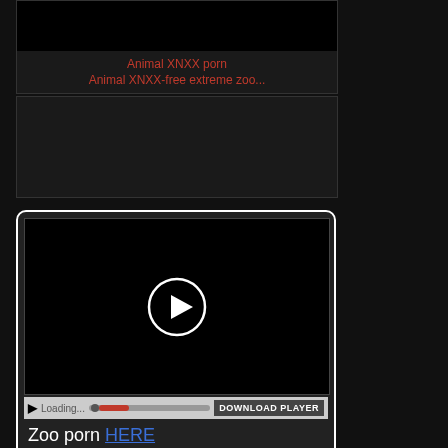[Figure (screenshot): Dark thumbnail image area]
Animal XNXX porn
Animal XNXX-free extreme zoo...
[Figure (screenshot): Dark content area]
[Figure (screenshot): Video player with play button and loading controls bar showing 'Loading...' and 'DOWNLOAD PLAYER' button]
Zoo porn HERE